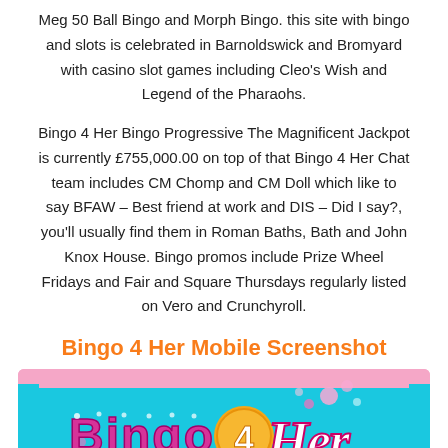Meg 50 Ball Bingo and Morph Bingo. this site with bingo and slots is celebrated in Barnoldswick and Bromyard with casino slot games including Cleo's Wish and Legend of the Pharaohs.
Bingo 4 Her Bingo Progressive The Magnificent Jackpot is currently £755,000.00 on top of that Bingo 4 Her Chat team includes CM Chomp and CM Doll which like to say BFAW – Best friend at work and DIS – Did I say?, you'll usually find them in Roman Baths, Bath and John Knox House. Bingo promos include Prize Wheel Fridays and Fair and Square Thursdays regularly listed on Vero and Crunchyroll.
Bingo 4 Her Mobile Screenshot
[Figure (screenshot): Bingo 4 Her mobile screenshot showing the Bingo 4 Her logo on a pink and teal/cyan background]